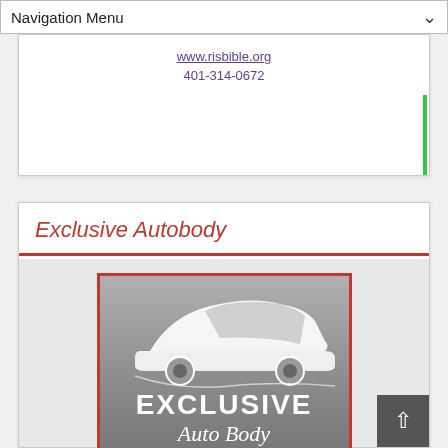Navigation Menu
www.risbible.org
401-314-0672
Exclusive Autobody
[Figure (logo): Exclusive Auto Body advertisement: silver/grey background with white silhouette car logo, text 'EXCLUSIVE Auto Body', 'Home of RI's First Auto Robot 3-D Unibody Frame Straightener', and row of cars at bottom.]